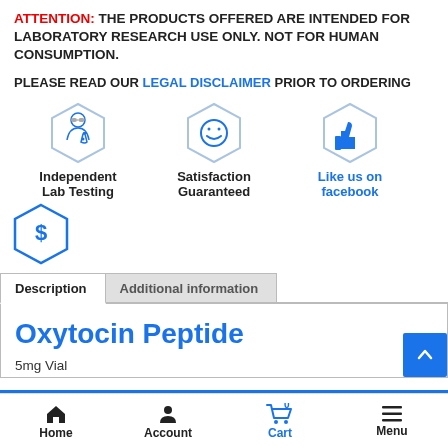ATTENTION: THE PRODUCTS OFFERED ARE INTENDED FOR LABORATORY RESEARCH USE ONLY. NOT FOR HUMAN CONSUMPTION.
PLEASE READ OUR LEGAL DISCLAIMER PRIOR TO ORDERING
[Figure (illustration): Three hexagon icons: Independent Lab Testing (scientist with flask), Satisfaction Guaranteed (smiley face), Like us on facebook (thumbs up)]
[Figure (illustration): Hexagon icon with dollar sign]
Description | Additional information tabs
Oxytocin Peptide
5mg Vial
Home  Account  Cart 0  Menu